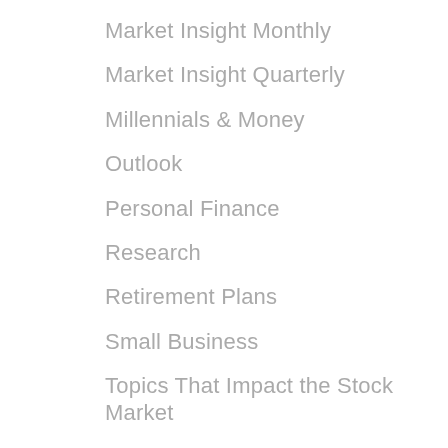Market Insight Monthly
Market Insight Quarterly
Millennials & Money
Outlook
Personal Finance
Research
Retirement Plans
Small Business
Topics That Impact the Stock Market
Uncategorized